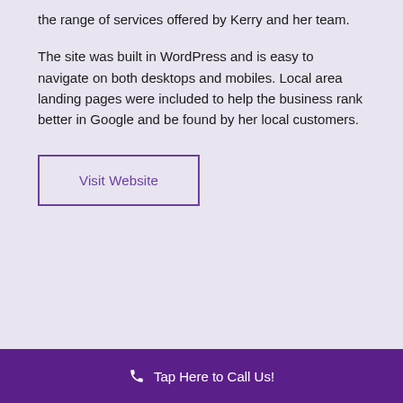the range of services offered by Kerry and her team.
The site was built in WordPress and is easy to navigate on both desktops and mobiles. Local area landing pages were included to help the business rank better in Google and be found by her local customers.
Visit Website
Tap Here to Call Us!